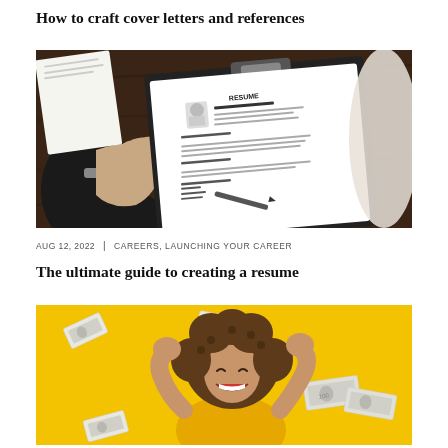How to craft cover letters and references
[Figure (photo): Person holding a clipboard with a resume document on a wooden table, another person partially visible in background]
AUG 12, 2022  |  CAREERS, LAUNCHING YOUR CAREER
The ultimate guide to creating a resume
[Figure (photo): Happy woman with curly hair wearing yellow jacket celebrating with fists raised, surrounded by flying money bills on yellow background]